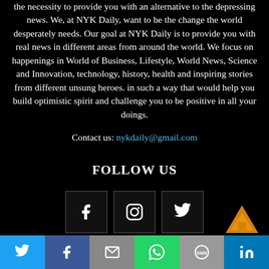the necessity to provide you with an alternative to the depressing news. We, at NYK Daily, want to be the change the world desperately needs. Our goal at NYK Daily is to provide you with real news in different areas from around the world. We focus on happenings in World of Business, Lifestyle, World News, Science and Innovation, technology, history, health and inspiring stories from different unsung heroes. in such a way that would help you build optimistic spirit and challenge you to be positive in all your doings.
Contact us: nykdaily@gmail.com
FOLLOW US
[Figure (infographic): Three social media icon boxes for Facebook, Instagram, and Twitter, with a gold upward arrow scroll-to-top button on the right]
Twitter | Facebook | Email | WhatsApp | SMS | LinkedIn social share bar